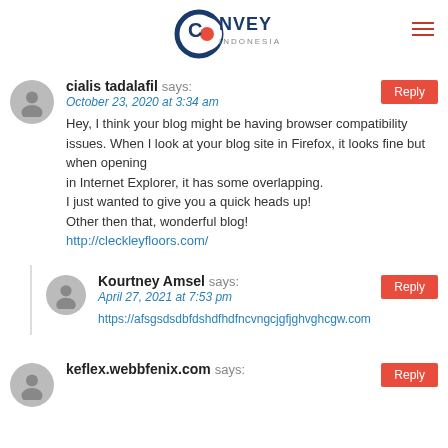[Figure (logo): Convey Indonesia logo with crescent moon shape in dark blue and red dot, text CONVEY INDONESIA]
cialis tadalafil says:
October 23, 2020 at 3:34 am
Hey, I think your blog might be having browser compatibility issues. When I look at your blog site in Firefox, it looks fine but when opening in Internet Explorer, it has some overlapping. I just wanted to give you a quick heads up! Other then that, wonderful blog!
http://cleckleyfloors.com/
Kourtney Amsel says:
April 27, 2021 at 7:53 pm
https://afsgsdsdbfdshdfhdfncvngcjgfjghvghcgw.com
keflex.webbfenix.com says: